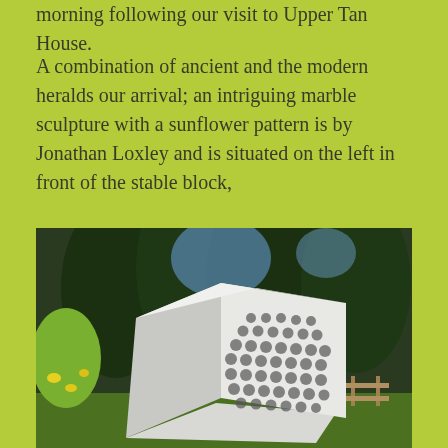morning following our visit to Upper Tan House.
A combination of ancient and the modern heralds our arrival; an intriguing marble sculpture with a sunflower pattern is by Jonathan Loxley and is situated on the left in front of the stable block,
[Figure (photo): Photograph of a white marble sculpture with a sunflower/honeycomb dot pattern on its face, angular geometric form, situated outdoors in front of tall dark green trees with lemon tree visible on the left and a wooden fence in the background.]